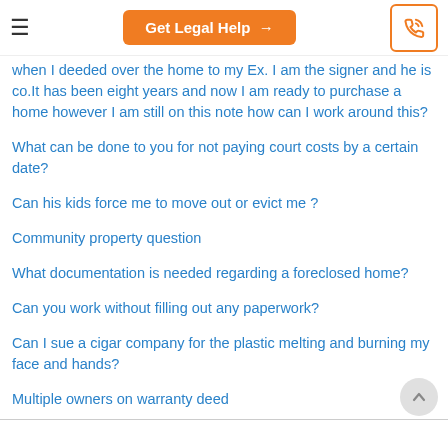Get Legal Help →
when I deeded over the home to my Ex. I am the signer and he is co.It has been eight years and now I am ready to purchase a home however I am still on this note how can I work around this?
What can be done to you for not paying court costs by a certain date?
Can his kids force me to move out or evict me ?
Community property question
What documentation is needed regarding a foreclosed home?
Can you work without filling out any paperwork?
Can I sue a cigar company for the plastic melting and burning my face and hands?
Multiple owners on warranty deed